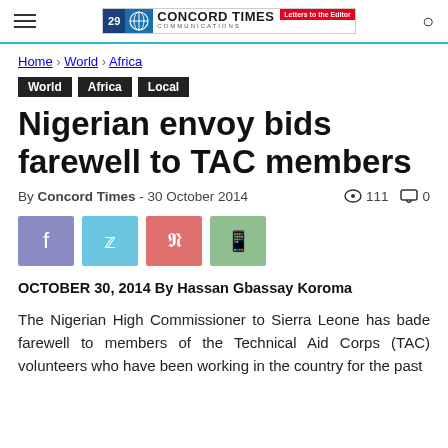Concord Times Communications
Home › World › Africa
World  Africa  Local
Nigerian envoy bids farewell to TAC members
By Concord Times - 30 October 2014  ● 111  💬 0
OCTOBER 30, 2014 By Hassan Gbassay Koroma
The Nigerian High Commissioner to Sierra Leone has bade farewell to members of the Technical Aid Corps (TAC) volunteers who have been working in the country for the past